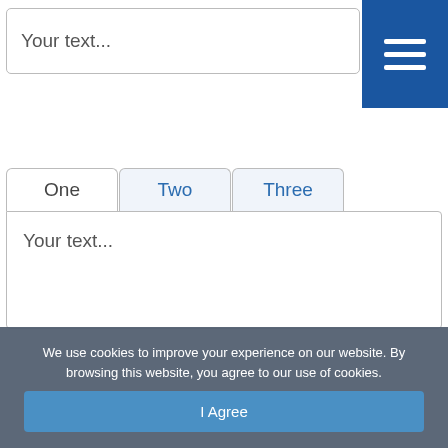[Figure (screenshot): Text input box with placeholder text 'Your text...' and a dark blue hamburger menu button with three white horizontal lines on the right]
[Figure (screenshot): Tab interface with three tabs labeled 'One', 'Two', 'Three'. 'One' is active in white, 'Two' and 'Three' are in blue text on light blue background. Below is a content panel with placeholder text 'Your text...']
We use cookies to improve your experience on our website. By browsing this website, you agree to our use of cookies.
I Agree